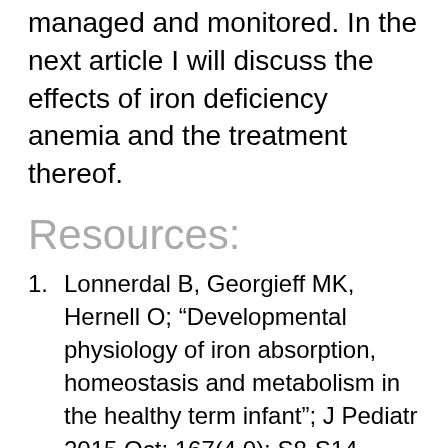managed and monitored. In the next article I will discuss the effects of iron deficiency anemia and the treatment thereof.
Resources:
Lonnerdal B, Georgieff MK, Hernell O; “Developmental physiology of iron absorption, homeostasis and metabolism in the healthy term infant”; J Pediatr 2015 Oct; 167(4 0): S8-S14
Baker RD, Greer FR, The Committee on Nutrition; “Diagnosis and Prevention of Iron Deficiency Anemia in Infants and